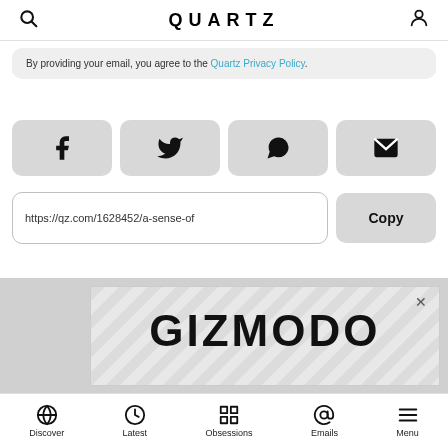QUARTZ
By providing your email, you agree to the Quartz Privacy Policy.
[Figure (screenshot): Social share buttons: Facebook, Twitter, WhatsApp, Email]
https://qz.com/1628452/a-sense-of
Copy
[Figure (screenshot): Advertisement for Gizmodo]
Discover  Latest  Obsessions  Emails  Menu